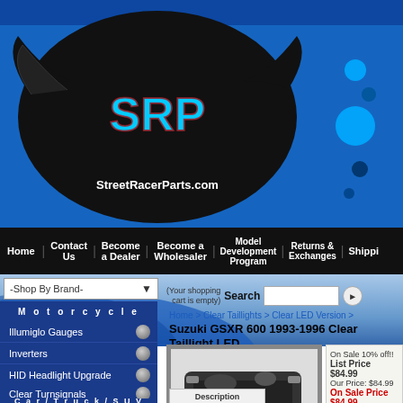VIEW CART | M
[Figure (logo): StreetRacerParts.com logo with winged skull design in black, red, and cyan on blue background with decorative circles]
Home | Contact Us | Become a Dealer | Become a Wholesaler | Model Development Program | Returns & Exchanges | Shippi
(Your shopping cart is empty) Search
Home > Clear Taillights > Clear LED Version >
Suzuki GSXR 600 1993-1996 Clear Taillight LED
-Shop By Brand-
M o t o r c y c l e
Illumiglo Gauges
Inverters
HID Headlight Upgrade
Clear Taillights
Clear Turnsignals
C a r / T r u c k / S U V
[Figure (photo): Suzuki GSXR 600 motorcycle rear view showing clear taillight LED installed]
On Sale 10% off!!
List Price $84.99
Our Price: $84.99
On Sale Price $84.99
Manufacturer: Clear Alterna
Get FREE SHIPPING w
This offer applies to on
Availability:: Usually Ships i
Product Code: CTL-0028-L-L
[Figure (other): Social media icons: Twitter (blue bird), email (envelope), Pinterest (red P)]
Description